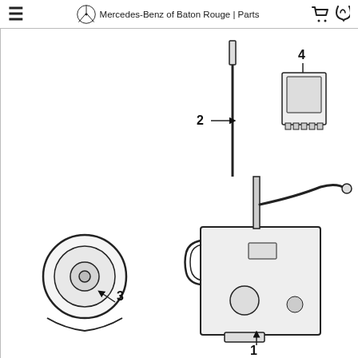Mercedes-Benz of Baton Rouge | Parts
[Figure (engineering-diagram): Mercedes-Benz parts diagram showing 4 numbered components: (1) a main assembly unit with linkage mechanism mounted on a bracket plate, (2) a dipstick or rod component, (3) a pulley/belt tensioner wheel, and (4) a relay or electronic module component. Numbers 1-4 are callout labels pointing to each part.]